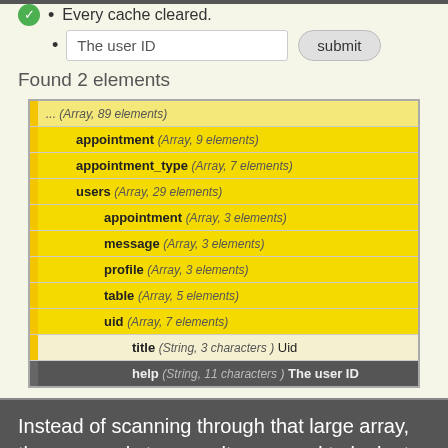Every cache cleared.
The user ID  [submit]
Found 2 elements
[Figure (screenshot): Tree view of array structure showing nested keys: ... (Array, 89 elements), appointment (Array, 9 elements), appointment_type (Array, 7 elements), users (Array, 29 elements), appointment (Array, 3 elements), message (Array, 3 elements), profile (Array, 3 elements), table (Array, 5 elements), uid (Array, 7 elements), title (String, 3 characters) Uid, help (String, 11 characters) The user ID]
Instead of scanning through that large array, there are only two results we need to look at and they are already highlighted.